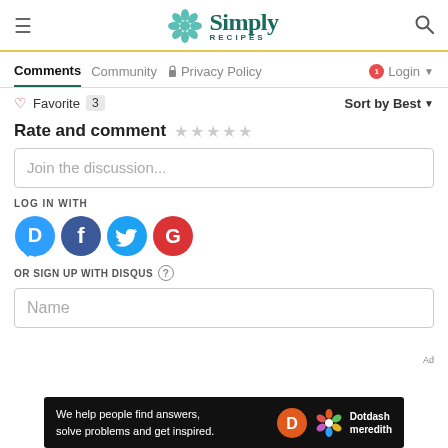Simply Recipes
Comments  Community  Privacy Policy  Login
Favorite 3   Sort by Best
Rate and comment ★ ★ ★ ★ ★
Join the discussion...
LOG IN WITH
[Figure (logo): Social login icons: Disqus (D), Facebook (f), Twitter bird, Google (G)]
OR SIGN UP WITH DISQUS ?
Name
[Figure (infographic): Dotdash Meredith advertisement banner: We help people find answers, solve problems and get inspired.]